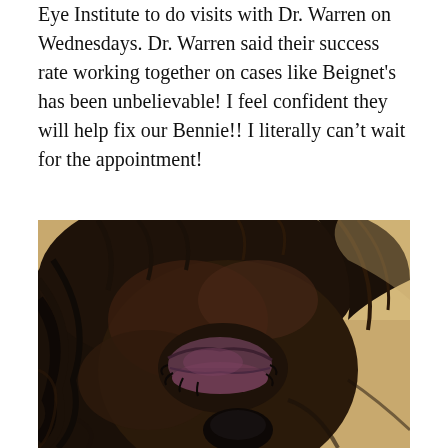Eye Institute to do visits with Dr. Warren on Wednesdays. Dr. Warren said their success rate working together on cases like Beignet's has been unbelievable! I feel confident they will help fix our Bennie!! I literally can't wait for the appointment!
[Figure (photo): Close-up photograph of a dark-furred dog (appears to be a Pekingese or similar breed) with a swollen, closed eye showing inflammation around the eyelid area. The dog has long black fur and is photographed from close range against a light background.]